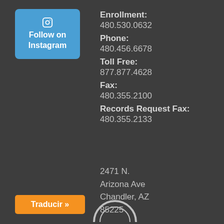[Figure (other): Blue rounded button with Instagram camera icon and text 'Follow on Instagram']
Enrollment: 480.530.0632 Phone: 480.456.6678 Toll Free: 877.877.4628 Fax: 480.355.2100 Records Request Fax: 480.355.2133
2471 N. Arizona Ave Chandler, AZ 85225
Traducir »
[Figure (logo): Partial circular logo at bottom center]